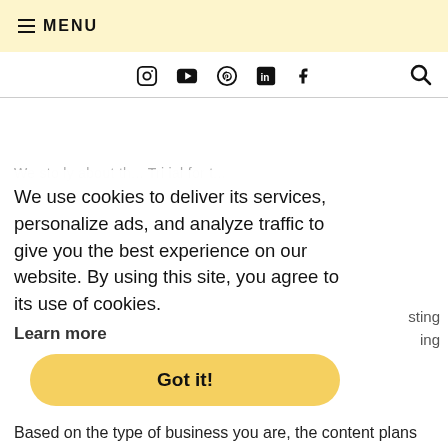≡ MENU
Social icons: Instagram, YouTube, Pinterest, LinkedIn, Facebook | Search
We use cookies to deliver its services, personalize ads, and analyze traffic to give you the best experience on our website. By using this site, you agree to its use of cookies.
Learn more
Got it!
Based on the type of business you are, the content plans